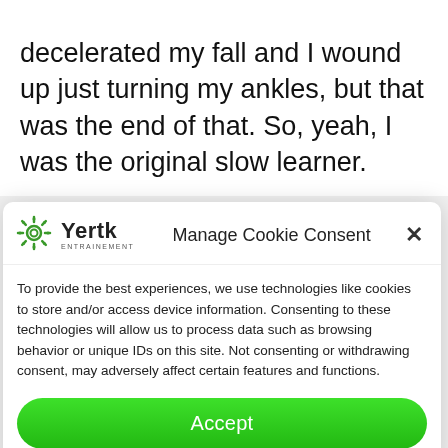decelerated my fall and I wound up just turning my ankles, but that was the end of that. So, yeah, I was the original slow learner.
[Figure (screenshot): Cookie consent modal popup with Yertk Entrainement logo, 'Manage Cookie Consent' title, privacy notice text, and green Accept button]